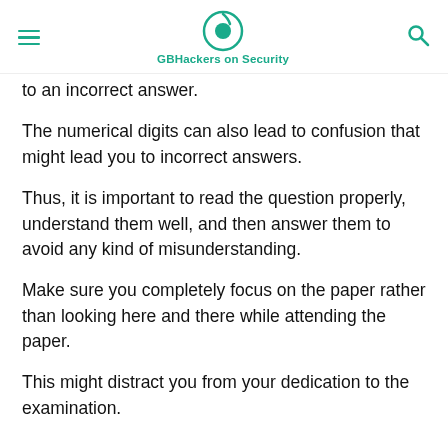GBHackers on Security
to an incorrect answer.
The numerical digits can also lead to confusion that might lead you to incorrect answers.
Thus, it is important to read the question properly, understand them well, and then answer them to avoid any kind of misunderstanding.
Make sure you completely focus on the paper rather than looking here and there while attending the paper.
This might distract you from your dedication to the examination.